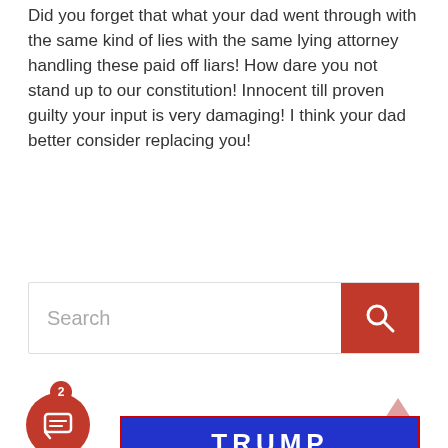Did you forget that what your dad went through with the same kind of lies with the same lying attorney handling these paid off liars! How dare you not stand up to our constitution! Innocent till proven guilty your input is very damaging! I think your dad better consider replacing you!
+ 0 — → Reply
[Figure (screenshot): Search bar with red search button containing a magnifying glass icon]
[Figure (photo): Trump campaign sign/banner with TRUMP text on blue background with American flag]